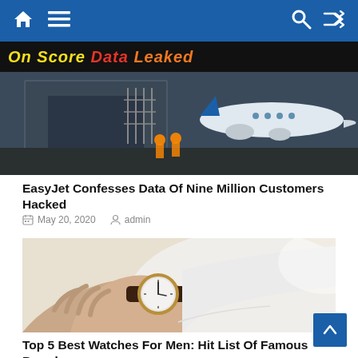Navigation bar with home, menu, search, and shuffle icons
[Figure (photo): EasyJet headline image with text 'On Score Data Leaked' banner over a photo of an airplane at an airport gate with workers in high-vis vests]
EasyJet Confesses Data Of Nine Million Customers Hacked
May 20, 2020   admin
[Figure (photo): Close-up photo of a man in a white dress shirt checking a minimalist analog wristwatch with brown leather strap on his left wrist]
Top 5 Best Watches For Men: Hit List Of Famous Brands